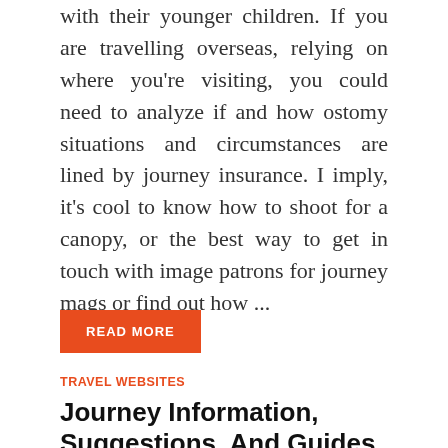with their younger children. If you are travelling overseas, relying on where you're visiting, you could need to analyze if and how ostomy situations and circumstances are lined by journey insurance. I imply, it's cool to know how to shoot for a canopy, or the best way to get in touch with image patrons for journey mags or find out how ...
READ MORE
TRAVEL WEBSITES
Journey Information, Suggestions, And Guides
December 20, 2017  -  by George Pollard